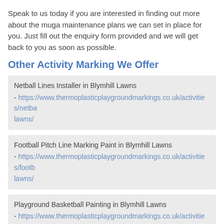Speak to us today if you are interested in finding out more about the muga maintenance plans we can set in place for you. Just fill out the enquiry form provided and we will get back to you as soon as possible.
Other Activity Marking We Offer
Netball Lines Installer in Blymhill Lawns - https://www.thermoplasticplaygroundmarkings.co.uk/activities/netba...lawns/
Football Pitch Line Marking Paint in Blymhill Lawns - https://www.thermoplasticplaygroundmarkings.co.uk/activities/footb...lawns/
Playground Basketball Painting in Blymhill Lawns - https://www.thermoplasticplaygroundmarkings.co.uk/activities/bask...lawns/
Schools Tennis Line Marking in Blymhill Lawns